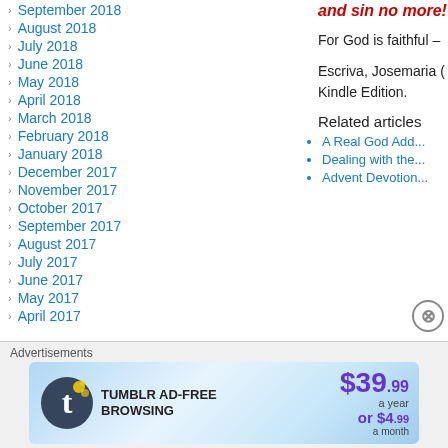September 2018
August 2018
July 2018
June 2018
May 2018
April 2018
March 2018
February 2018
January 2018
December 2017
November 2017
October 2017
September 2017
August 2017
July 2017
June 2017
May 2017
April 2017
and sin no more!
For God is faithful –
Escriva, Josemaria ( Kindle Edition.
Related articles
A Real God Add...
Dealing with the...
Advent Devotion...
Advertisements
[Figure (infographic): Tumblr Ad-Free Browsing advertisement banner: $39.99 a year or $4.99 a month]